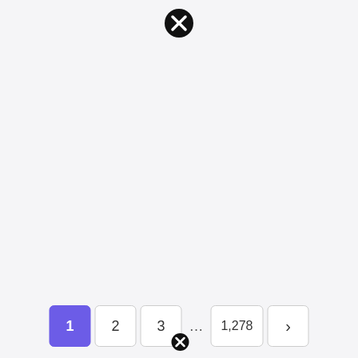[Figure (other): Close/dismiss icon — black filled circle with white X, positioned near top center of page]
1  2  3  ...  1,278  ›